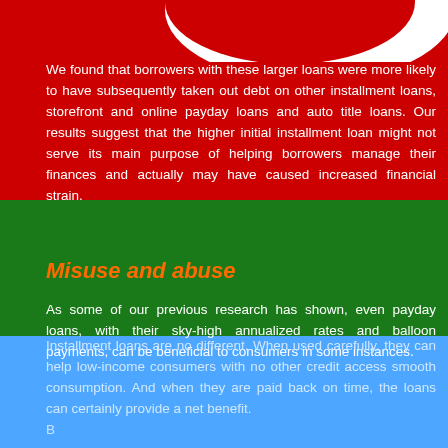[Figure (illustration): Partial logo/graphic visible at top of page — white crescent shape on red background]
We found that borrowers with these larger loans were more likely to have subsequently taken out debt on other installment loans, storefront and online payday loans and auto title loans. Our results suggest that the higher initial installment loan might not serve its main purpose of helping borrowers manage their finances and actually may have caused increased financial strain.
Misuse and abuse
As some of our previous research has shown, even payday loans, with their sky-high annualized rates and balloon payments, can be beneficial to consumers in some instances.
Installment loans are no different. When used carefully, they can help low-income consumers with no other credit access smooth consumption. And when they are paid back on time, the loans can certainly provide a net benefit.
B...